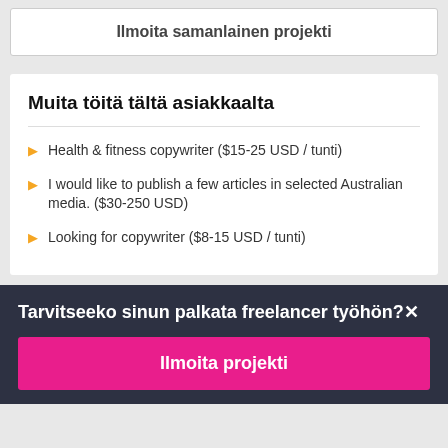Ilmoita samanlainen projekti
Muita töitä tältä asiakkaalta
Health & fitness copywriter ($15-25 USD / tunti)
I would like to publish a few articles in selected Australian media. ($30-250 USD)
Looking for copywriter ($8-15 USD / tunti)
Tarvitseeko sinun palkata freelancer työhön?
Ilmoita projekti